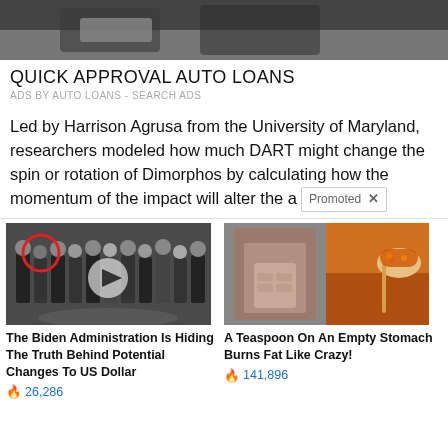[Figure (photo): Partial view of top ad image showing hands and a car — cropped photo at top of page]
QUICK APPROVAL AUTO LOANS
ADS BY AUTO LOANS - SEARCH ADS
Led by Harrison Agrusa from the University of Maryland, researchers modeled how much DART might change the spin or rotation of Dimorphos by calculating how the momentum of the impact will alter the a
Promoted X
[Figure (photo): Group of men in suits at CIA headquarters, with a red circle highlighting one person and a video play button overlay]
The Biden Administration Is Hiding The Truth Behind Potential Changes To US Dollar
🔥 26,286
[Figure (photo): Split image: woman with abs on left, spice on a spoon on right]
A Teaspoon On An Empty Stomach Burns Fat Like Crazy!
🔥 141,896